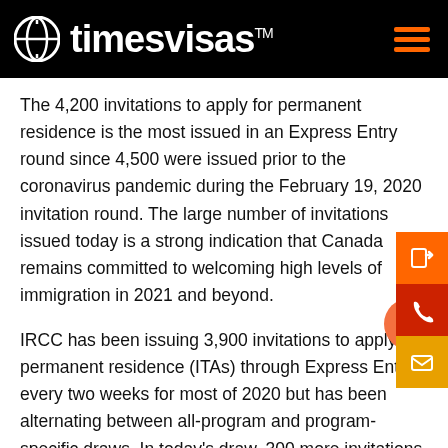timesvisas
The 4,200 invitations to apply for permanent residence is the most issued in an Express Entry round since 4,500 were issued prior to the coronavirus pandemic during the February 19, 2020 invitation round. The large number of invitations issued today is a strong indication that Canada remains committed to welcoming high levels of immigration in 2021 and beyond.
IRCC has been issuing 3,900 invitations to apply for permanent residence (ITAs) through Express Entry every two weeks for most of 2020 but has been alternating between all-program and program-specific draws. In today's draw, 300 more invitations were issued to immigration candidates.